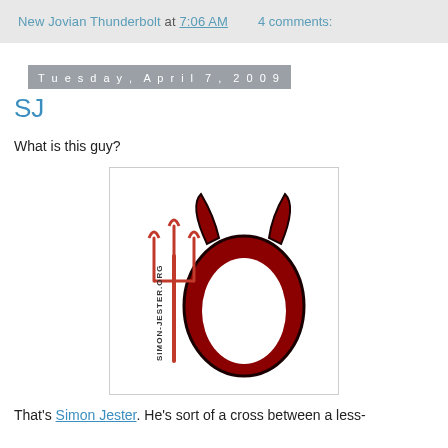New Jovian Thunderbolt at 7:06 AM   4 comments:
Tuesday, April 7, 2009
SJ
What is this guy?
[Figure (illustration): Simon Jester symbol: a red devil head silhouette (round face with two horns) with a red trident to the left, and the text SIMON-JESTER.ORG written vertically along the trident handle.]
That's Simon Jester. He's sort of a cross between a less-